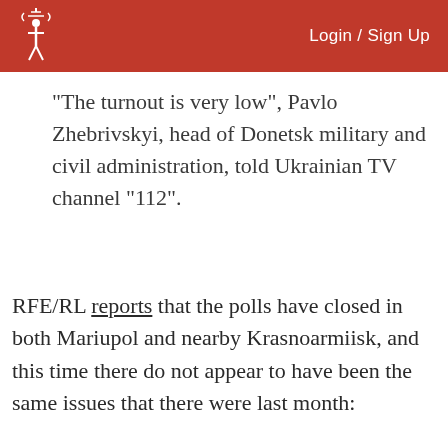Login / Sign Up
“The turnout is very low”, Pavlo Zhebrivskyi, head of Donetsk military and civil administration, told Ukrainian TV channel “112”.
RFE/RL reports that the polls have closed in both Mariupol and nearby Krasnoarmiisk, and this time there do not appear to have been the same issues that there were last month: